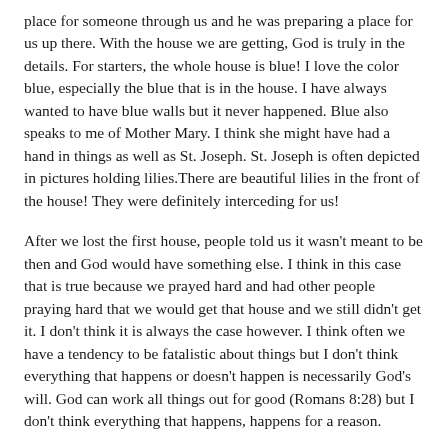place for someone through us and he was preparing a place for us up there. With the house we are getting, God is truly in the details. For starters, the whole house is blue! I love the color blue, especially the blue that is in the house. I have always wanted to have blue walls but it never happened. Blue also speaks to me of Mother Mary. I think she might have had a hand in things as well as St. Joseph. St. Joseph is often depicted in pictures holding lilies.There are beautiful lilies in the front of the house! They were definitely interceding for us!
After we lost the first house, people told us it wasn't meant to be then and God would have something else. I think in this case that is true because we prayed hard and had other people praying hard that we would get that house and we still didn't get it. I don't think it is always the case however. I think often we have a tendency to be fatalistic about things but I don't think everything that happens or doesn't happen is necessarily God's will. God can work all things out for good (Romans 8:28) but I don't think everything that happens, happens for a reason.
The devil prowls about the world seeking someone to devour (1 Peter 5:8). He would love to rob us of our inheritance if we let him.